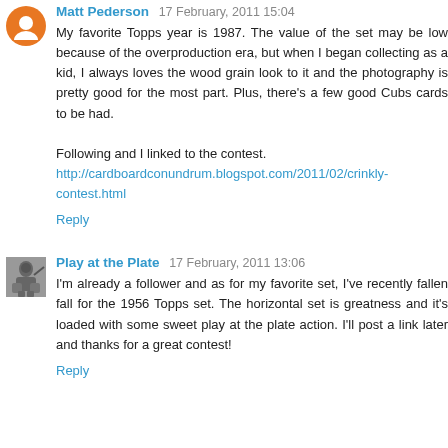Matt Pederson 17 February, 2011 15:04
My favorite Topps year is 1987. The value of the set may be low because of the overproduction era, but when I began collecting as a kid, I always loves the wood grain look to it and the photography is pretty good for the most part. Plus, there's a few good Cubs cards to be had.

Following and I linked to the contest.
http://cardboardconundrum.blogspot.com/2011/02/crinkly-contest.html
Reply
Play at the Plate 17 February, 2011 13:06
I'm already a follower and as for my favorite set, I've recently fallen fall for the 1956 Topps set. The horizontal set is greatness and it's loaded with some sweet play at the plate action. I'll post a link later and thanks for a great contest!
Reply